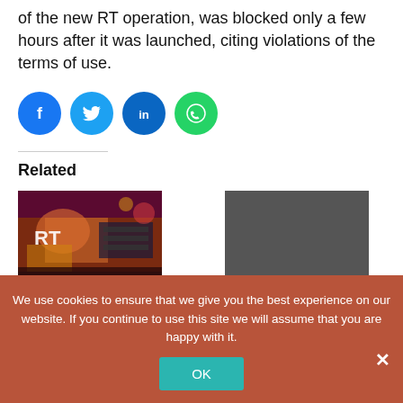of the new RT operation, was blocked only a few hours after it was launched, citing violations of the terms of use.
[Figure (other): Social share buttons: Facebook, Twitter, LinkedIn, WhatsApp]
Related
[Figure (photo): RT studio interior with RT logo and colorful lighting]
RT DE to sue German regulator after broadcast ban
RT prepares German-language TV channel
In 'Newsline'
We use cookies to ensure that we give you the best experience on our website. If you continue to use this site we will assume that you are happy with it.